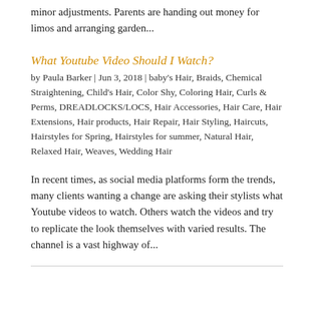minor adjustments. Parents are handing out money for limos and arranging garden...
What Youtube Video Should I Watch?
by Paula Barker | Jun 3, 2018 | baby's Hair, Braids, Chemical Straightening, Child's Hair, Color Shy, Coloring Hair, Curls & Perms, DREADLOCKS/LOCS, Hair Accessories, Hair Care, Hair Extensions, Hair products, Hair Repair, Hair Styling, Haircuts, Hairstyles for Spring, Hairstyles for summer, Natural Hair, Relaxed Hair, Weaves, Wedding Hair
In recent times, as social media platforms form the trends, many clients wanting a change are asking their stylists what Youtube videos to watch. Others watch the videos and try to replicate the look themselves with varied results. The channel is a vast highway of...